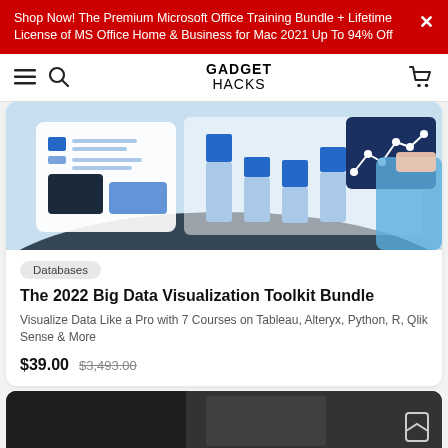Shop Now! The Premium Microsoft Office Training Bundle + Lifetime License of MS Office Home & Business for Mac 2021 Up To 94% Off
GADGET HACKS
[Figure (illustration): Data visualization illustration showing bar charts and line charts on a dashboard, with a person in a blue shirt in the background, on a light blue background]
Databases
The 2022 Big Data Visualization Toolkit Bundle
Visualize Data Like a Pro with 7 Courses on Tableau, Alteryx, Python, R, Qlik Sense & More
$39.00  $3,493.00
[Figure (photo): Partial view of a dark photograph showing a person, cropped at the bottom of the page]